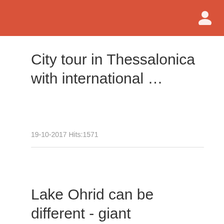City tour in Thessalonica with international …
19-10-2017 Hits:1571
Lake Ohrid can be different - giant